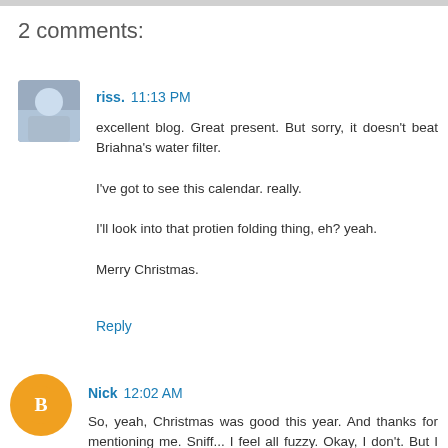2 comments:
riss. 11:13 PM
excellent blog. Great present. But sorry, it doesn't beat Briahna's water filter.

I've got to see this calendar. really.

I'll look into that protien folding thing, eh? yeah.

Merry Christmas.
Reply
Nick 12:02 AM
So, yeah, Christmas was good this year. And thanks for mentioning me. Sniff... I feel all fuzzy. Okay, I don't. But I have had Firefox for a couple of months now. Other than the Tabs thing I don't see anything really great about it, but I'm not complaining. So anyway, Merry Christmas to all...